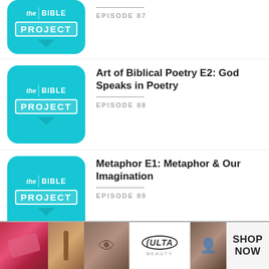EPISODE 87
Art of Biblical Poetry E2: God Speaks in Poetry — EPISODE 88
Metaphor E1: Metaphor & Our Imagination — EPISODE 89
Metaphor E2: The Mountain
[Figure (screenshot): ULTA Beauty advertisement banner with makeup images and SHOP NOW text]